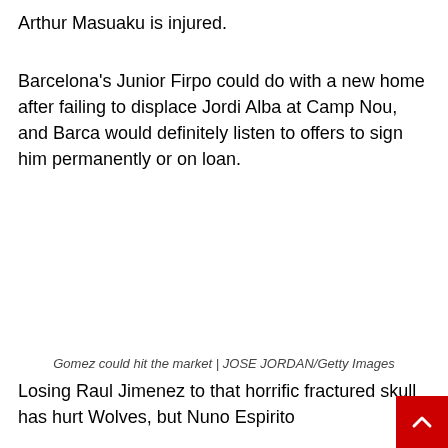Arthur Masuaku is injured.
Barcelona's Junior Firpo could do with a new home after failing to displace Jordi Alba at Camp Nou, and Barca would definitely listen to offers to sign him permanently or on loan.
Gomez could hit the market | JOSE JORDAN/Getty Images
Losing Raul Jimenez to that horrific fractured skull has hurt Wolves, but Nuno Espirito